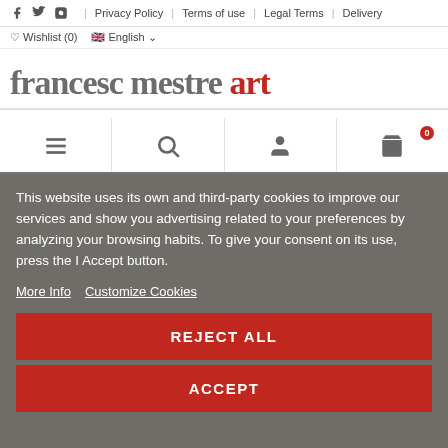francesc mestre art — website header with navigation: Privacy Policy | Terms of use | Legal Terms | Delivery | Wishlist (0) | English
francesc mestre art
This website uses its own and third-party cookies to improve our services and show you advertising related to your preferences by analyzing your browsing habits. To give your consent on its use, press the I Accept button.
More Info
Customize Cookies
REJECT ALL
ACCEPT